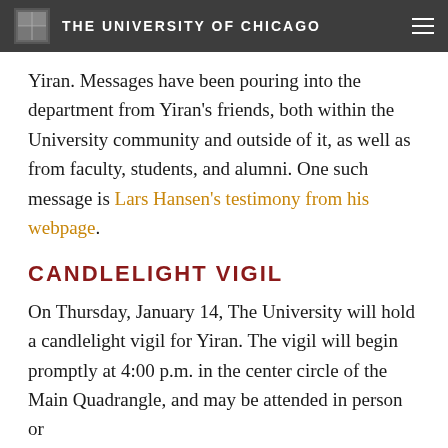THE UNIVERSITY OF CHICAGO
Yiran. Messages have been pouring into the department from Yiran’s friends, both within the University community and outside of it, as well as from faculty, students, and alumni. One such message is Lars Hansen’s testimony from his webpage.
CANDLELIGHT VIGIL
On Thursday, January 14, The University will hold a candlelight vigil for Yiran. The vigil will begin promptly at 4:00 p.m. in the center circle of the Main Quadrangle, and may be attended in person or